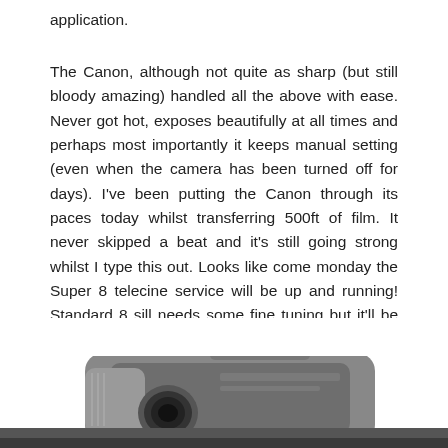application.
The Canon, although not quite as sharp (but still bloody amazing) handled all the above with ease. Never got hot, exposes beautifully at all times and perhaps most importantly it keeps manual setting (even when the camera has been turned off for days). I've been putting the Canon through its paces today whilst transferring 500ft of film. It never skipped a beat and it's still going strong whilst I type this out. Looks like come monday the Super 8 telecine service will be up and running! Standard 8 sill needs some fine tuning but it'll be up for the 1st of May at the latest.
[Figure (photo): Black and white photograph of a Canon camera (video/telecine device), shown from a low angle with the top and front visible. The image is cropped at the bottom of the page.]